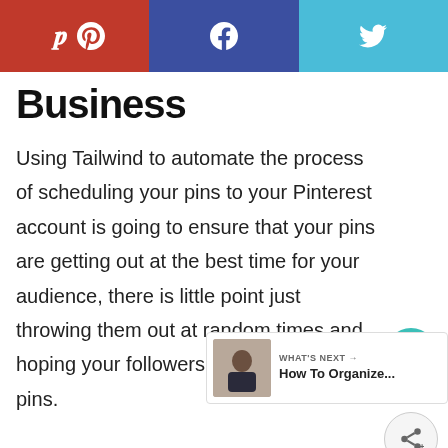Pinterest | Facebook | Twitter social share bar
Business
Using Tailwind to automate the process of scheduling your pins to your Pinterest account is going to ensure that your pins are getting out at the best time for your audience, there is little point just throwing them out at random times and hoping your followers get to see your pins.
[Figure (other): Heart/like button with count 200 and share button on right sidebar]
[Figure (other): What's Next widget showing How To Organize... article with thumbnail of person]